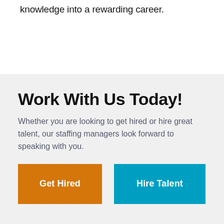knowledge into a rewarding career.
Work With Us Today!
Whether you are looking to get hired or hire great talent, our staffing managers look forward to speaking with you.
Get Hired
Hire Talent
Connect with us